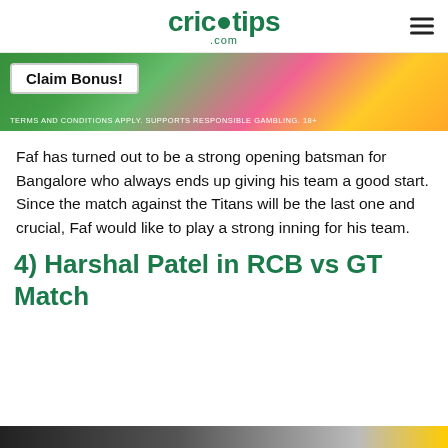crictips.com
[Figure (photo): Advertisement banner with 'Claim Bonus!' button on green/colorful background with text 'TERMS AND CONDITIONS APPLY. SUPPORTS RESPONSIBLE GAMBLING. 18+']
Faf has turned out to be a strong opening batsman for Bangalore who always ends up giving his team a good start. Since the match against the Titans will be the last one and crucial, Faf would like to play a strong inning for his team.
4) Harshal Patel in RCB vs GT Match